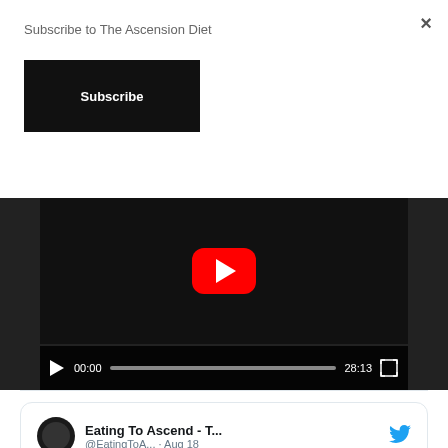Subscribe to The Ascension Diet
Subscribe
[Figure (screenshot): YouTube video player showing a black-and-white image of a man's face with a red YouTube play button overlay. Controls show 00:00 timestamp, progress bar, 28:13 duration, and fullscreen button.]
[Figure (screenshot): Embedded tweet from 'Eating To Ascend - T...' (@EatingToA...) dated Aug 18, with Twitter bird icon. Tweet text: 'The Departure (Rapture) as opposed to the Churchianity Apostosia (Falling Away) to hide the truth in 2 Thessalonians 2:3']